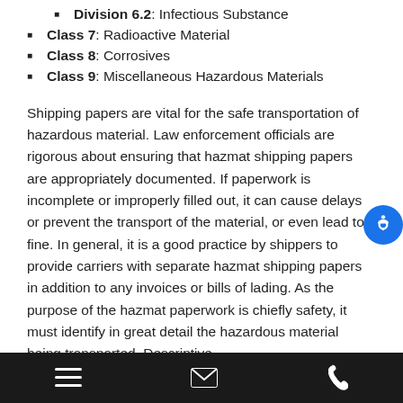Division 6.2: Infectious Substance
Class 7: Radioactive Material
Class 8: Corrosives
Class 9: Miscellaneous Hazardous Materials
Shipping papers are vital for the safe transportation of hazardous material. Law enforcement officials are rigorous about ensuring that hazmat shipping papers are appropriately documented. If paperwork is incomplete or improperly filled out, it can cause delays or prevent the transport of the material, or even lead to a fine. In general, it is a good practice by shippers to provide carriers with separate hazmat shipping papers in addition to any invoices or bills of lading. As the purpose of the hazmat paperwork is chiefly safety, it must identify in great detail the hazardous material being transported. Descriptive
Navigation bar with menu, email, and phone icons